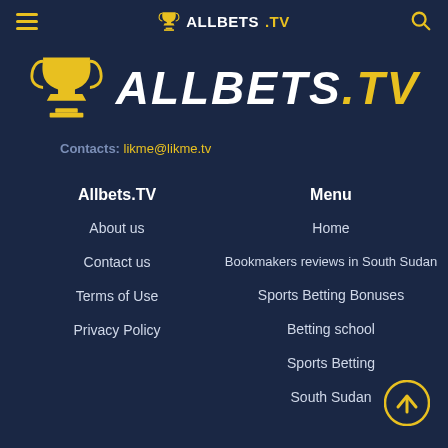≡  ALLBETS .TV  🔍
[Figure (logo): AllBets.TV large logo with trophy icon and italic white/gold text ALLBETS .TV]
Contacts: likme@likme.tv
Allbets.TV
About us
Contact us
Terms of Use
Privacy Policy
Menu
Home
Bookmakers reviews in South Sudan
Sports Betting Bonuses
Betting school
Sports Betting
South Sudan